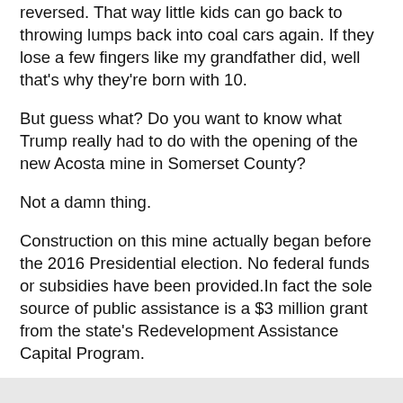reversed. That way little kids can go back to throwing lumps back into coal cars again. If they lose a few fingers like my grandfather did, well that's why they're born with 10.
But guess what? Do you want to know what Trump really had to do with the opening of the new Acosta mine in Somerset County?
Not a damn thing.
Construction on this mine actually began before the 2016 Presidential election. No federal funds or subsidies have been provided.In fact the sole source of public assistance is a $3 million grant from the state's Redevelopment Assistance Capital Program.
Also, the coal being mined is a far cry from the coal used to heat your home. It is metallurgical coal, used in the process of making steel and iron. Most of it will be shipped overseas instead of staying here and making America first.